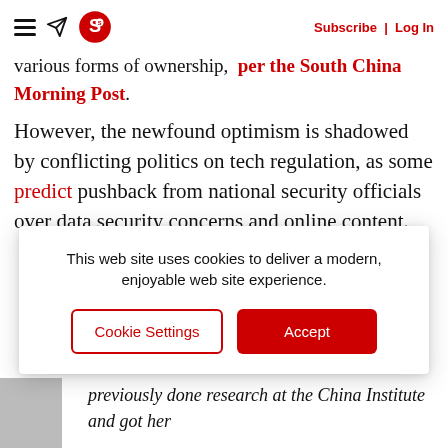Subscribe | Log In
various forms of ownership, per the South China Morning Post.
However, the newfound optimism is shadowed by conflicting politics on tech regulation, as some predict pushback from national security officials over data security concerns and online content.
This web site uses cookies to deliver a modern, enjoyable web site experience.
Cookie Settings  Accept
previously done research at the China Institute and got her